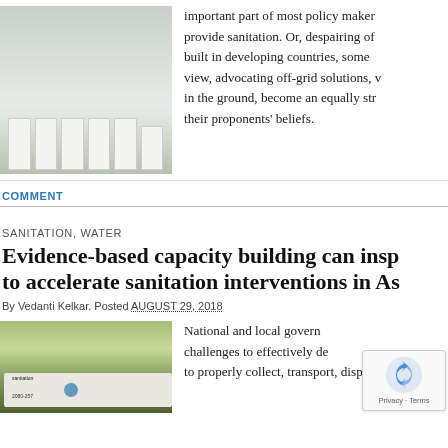[Figure (photo): Row of white modular portable toilet/shower units outside in a rocky, dusty area]
important part of most policy makers' agendas — so important that governments have to provide sanitation. Or, despairing of sewers ever being built in developing countries, some take an opposing view, advocating off-grid solutions, which, once firmly in the ground, become an equally strong influence on their proponents' beliefs.
COMMENT
SANITATION, WATER
Evidence-based capacity building can inspire to accelerate sanitation interventions in As…
By Vedanti Kelkar. Posted AUGUST 29, 2018
[Figure (photo): A sanitation truck in an autumn setting with yellow trees in the background]
National and local governments face immense challenges to effectively deliver as they struggle to properly collect, transport, dispose…